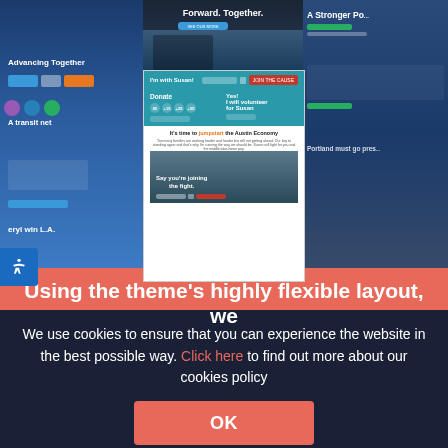[Figure (screenshot): Collage of political campaign website screenshots including 'Advancing Together', 'A transit net...', 'I'm with Susan!' donation page, Susan campaign page with Austin Economy headline, 'A Stronger Po...' and 'Portland must go pres...' panels]
Using the theme's highly flexible layout, we
We use cookies to ensure that you can experience the website in the best possible way. Click here to find out more about our cookies policy
OK